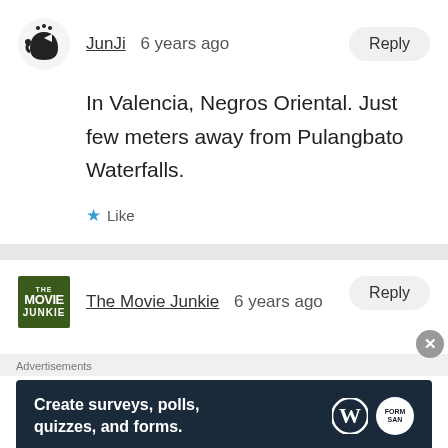JunJi  6 years ago
In Valencia, Negros Oriental. Just few meters away from Pulangbato Waterfalls.
Like
The Movie Junkie  6 years ago
Advertisements
Create surveys, polls, quizzes, and forms.